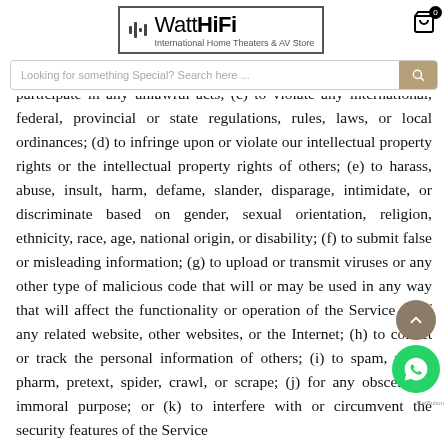In addition to other prohibitions as set forth in the Terms of Service, you are prohibited from using the site or its content: (a) for any unlawful purpose; (b) to solicit others to perform or participate in any unlawful acts; (c) to violate any international, federal, provincial or state regulations, rules, laws, or local ordinances; (d) to infringe upon or violate our intellectual property rights or the intellectual property rights of others; (e) to harass, abuse, insult, harm, defame, slander, disparage, intimidate, or discriminate based on gender, sexual orientation, religion, ethnicity, race, age, national origin, or disability; (f) to submit false or misleading information; (g) to upload or transmit viruses or any other type of malicious code that will or may be used in any way that will affect the functionality or operation of the Service or of any related website, other websites, or the Internet; (h) to collect or track the personal information of others; (i) to spam, phish, pharm, pretext, spider, crawl, or scrape; (j) for any obscene or immoral purpose; or (k) to interfere with or circumvent the security features of the Service
[Figure (logo): WattHiFi logo overlay with International Home Theaters & AV Store tagline, hamburger menu icon, search bar, and cart icon with badge showing 0]